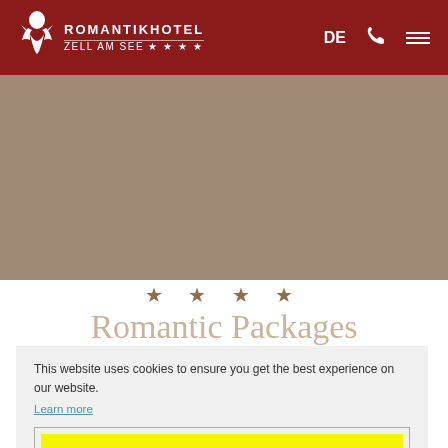ROMANTIKHOTEL ZELL AM SEE ★ ★ ★ ★
Romantic Offers
[Figure (photo): Hero image area with brownish/taupe background representing hotel imagery]
★  ★  ★  ★
Romantic Packages
This website uses cookies to ensure you get the best experience on our website.
Learn more
Accept